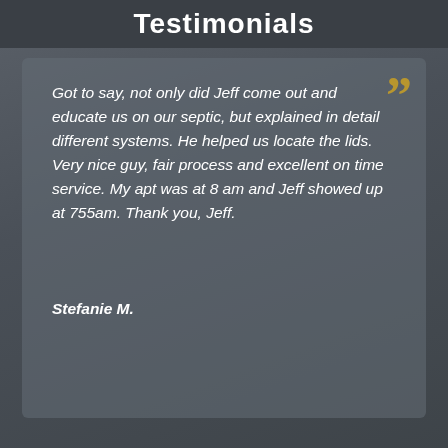Testimonials
Got to say, not only did Jeff come out and educate us on our septic, but explained in detail different systems. He helped us locate the lids. Very nice guy, fair process and excellent on time service. My apt was at 8 am and Jeff showed up at 755am. Thank you, Jeff.
Stefanie M.